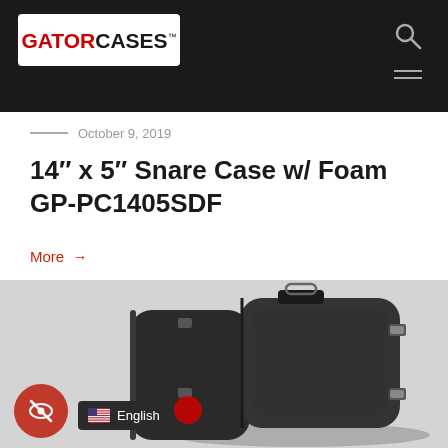GATOR CASES
October 9, 2019
14″ x 5″ Snare Case w/ Foam GP-PC1405SDF
More →
[Figure (photo): Black hard-shell snare drum case (GP-PC1405SDF) with carry handle and side latches, shown at an angle on a light grey background.]
English